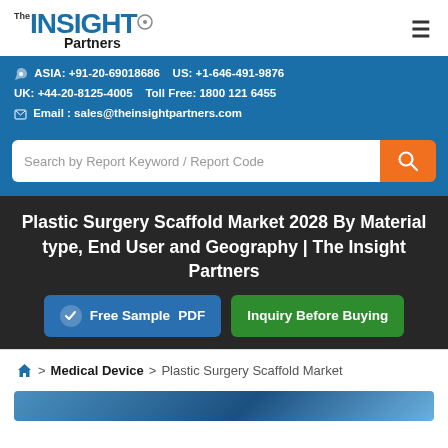The Insight Partners
ASIA: +91-20-69018686   US: +1-646-491-9876
UK: +44-20-8125-4005   Toll Free: 1800 121 6455
Email : sales@theinsightpartners.com
Search by Report Keyword / Report Code
Plastic Surgery Scaffold Market 2028 By Material type, End User and Geography | The Insight Partners
Free Sample PDF
Inquiry Before Buying
> Medical Device > Plastic Surgery Scaffold Market
[Figure (photo): Blue toned medical/science background image preview]